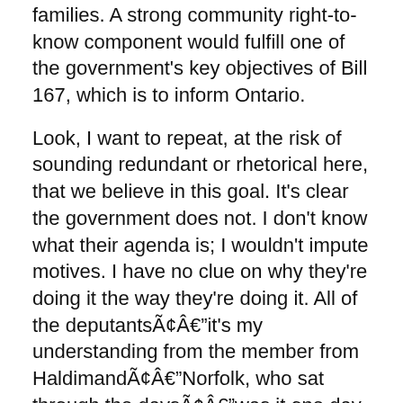families. A strong community right-to-know component would fulfill one of the government's key objectives of Bill 167, which is to inform Ontario.
Look, I want to repeat, at the risk of sounding redundant or rhetorical here, that we believe in this goal. It's clear the government does not. I don't know what their agenda is; I wouldn't impute motives. I have no clue on why they're doing it the way they're doing it. All of the deputantsÃ¢Âit's my understanding from the member from HaldimandÃ¢ÂNorfolk, who sat through the daysÃ¢Âwas it one day of hearing?
Mr. Toby Barrett: Two days.
Mr. John O'Toole: Two days and then they had clause-by-clause.
Let's put context around this. Ontario is a large province that represents probably a third of the population of Canada, probably aboutÃ¢Âwell, it used to be 50% of the